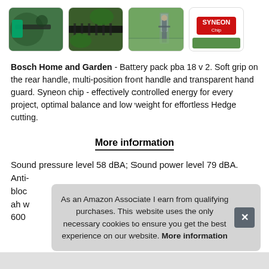[Figure (photo): Four product thumbnails: hedge trimmer in use (close-up), hedge trimmer blade close-up, person trimming hedge, and Syneon Chip logo/branding image]
Bosch Home and Garden - Battery pack pba 18 v 2. Soft grip on the rear handle, multi-position front handle and transparent hand guard. Syneon chip - effectively controlled energy for every project, optimal balance and low weight for effortless Hedge cutting.
More information
Sound pressure level 58 dBA; Sound power level 79 dBA. Anti-bloc ah w 600
As an Amazon Associate I earn from qualifying purchases. This website uses the only necessary cookies to ensure you get the best experience on our website. More information